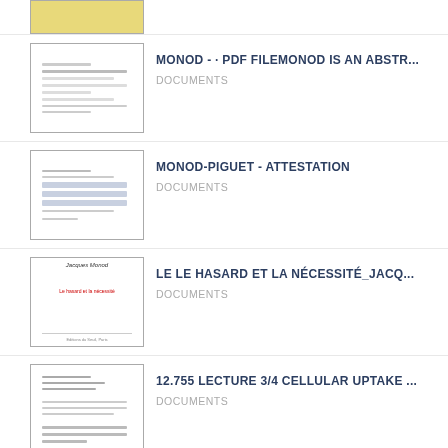[Figure (screenshot): Partially visible thumbnail with yellow/gold colored document preview at top of page]
MONOD - · PDF FILEMONOD IS AN ABSTR...
DOCUMENTS
MONOD-PIGUET - ATTESTATION
DOCUMENTS
LE LE HASARD ET LA NÉCESSITÉ_JACQ...
DOCUMENTS
12.755 LECTURE 3/4 CELLULAR UPTAKE ...
DOCUMENTS
ARTFUL INGENUITY: ART BY TINA MONOD
ART & PHOTOS